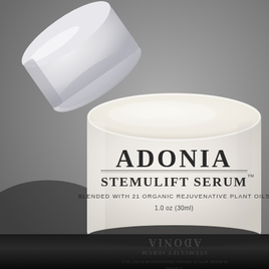[Figure (photo): Close-up product photo of an open glass jar of Adonia Stemulift Serum with a white frosted lid leaning against it. The jar label reads 'ADONIA STEMULIFT SERUM™ BLENDED WITH 21 ORGANIC REJUVENATIVE PLANT OILS 1.0 oz (30ml)'. The jar contains a white/cream colored serum. The bottom of the image shows the jar's reflection with mirrored text. Background is grey.]